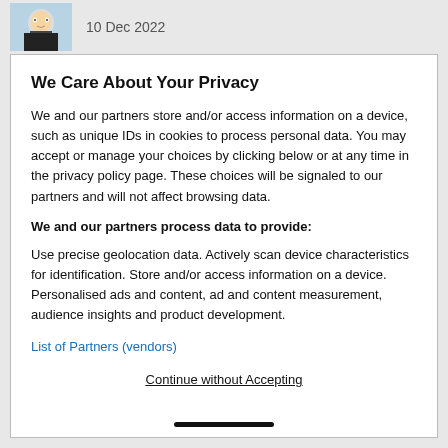10 Dec 2022
We Care About Your Privacy
We and our partners store and/or access information on a device, such as unique IDs in cookies to process personal data. You may accept or manage your choices by clicking below or at any time in the privacy policy page. These choices will be signaled to our partners and will not affect browsing data.
We and our partners process data to provide:
Use precise geolocation data. Actively scan device characteristics for identification. Store and/or access information on a device. Personalised ads and content, ad and content measurement, audience insights and product development.
List of Partners (vendors)
Continue without Accepting